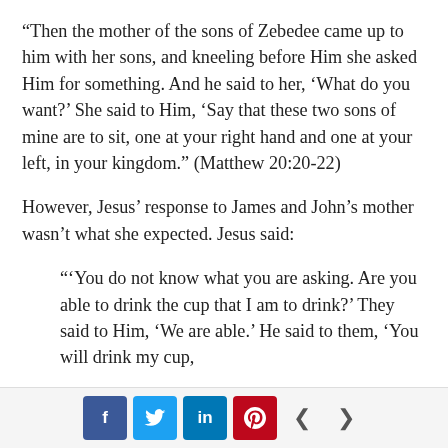“Then the mother of the sons of Zebedee came up to him with her sons, and kneeling before Him she asked Him for something. And he said to her, ‘What do you want?’ She said to Him, ‘Say that these two sons of mine are to sit, one at your right hand and one at your left, in your kingdom.” (Matthew 20:20-22)
However, Jesus’ response to James and John’s mother wasn’t what she expected. Jesus said:
“‘You do not know what you are asking. Are you able to drink the cup that I am to drink?’ They said to Him, ‘We are able.’ He said to them, ‘You will drink my cup,
f  [twitter]  in  [pinterest]  <  >